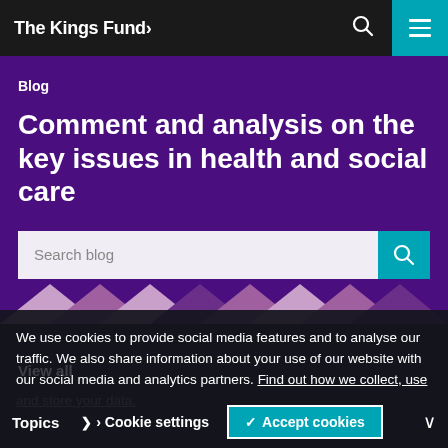The King's Fund>
Blog
Comment and analysis on the key issues in health and social care
Search blog
We use cookies to provide social media features and to analyse our traffic. We also share information about your use of our website with our social media and analytics partners. Find out how we collect, use and store your data.
Topics
Cookie settings
Accept cookies